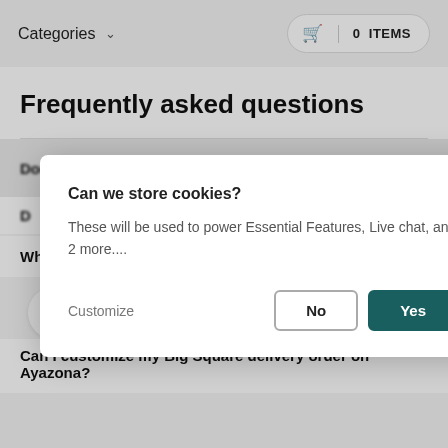Categories  0 ITEMS
Frequently asked questions
Does Big Square Moi Avenue deliver?
D... delivery?
[Figure (screenshot): Cookie consent modal dialog with title 'Can we store cookies?', body text 'These will be used to power Essential Features, Live chat, and 2 more....', a Customize link, and No/Yes buttons]
What type of food is Big Square Moi Avenue?
[Figure (illustration): Lock icon in a white circle button]
Can I customize my Big Square delivery order on Ayazona?